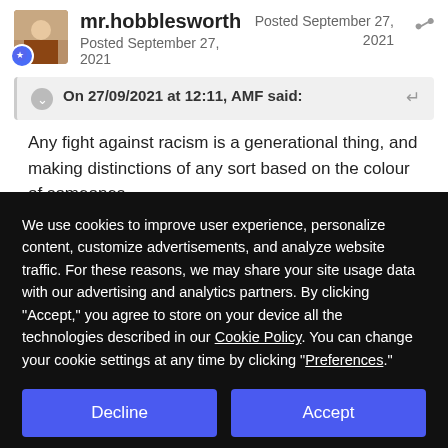mr.hobblesworth
Posted September 27, 2021
Posted September 27, 2021
On 27/09/2021 at 12:11, AMF said:
Any fight against racism is a generational thing, and making distinctions of any sort based on the colour of someones
We use cookies to improve user experience, personalize content, customize advertisements, and analyze website traffic. For these reasons, we may share your site usage data with our advertising and analytics partners. By clicking “Accept,” you agree to store on your device all the technologies described in our Cookie Policy. You can change your cookie settings at any time by clicking “Preferences.”